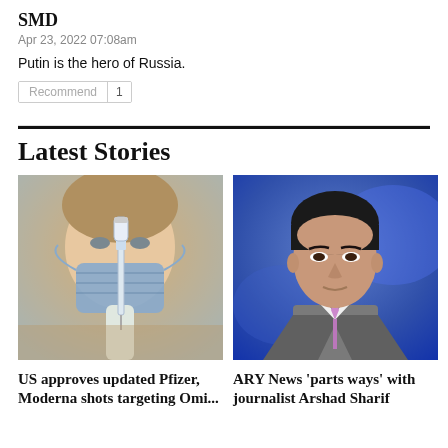SMD
Apr 23, 2022 07:08am
Putin is the hero of Russia.
Recommend | 1
Latest Stories
[Figure (photo): A person wearing a blue surgical mask holding a syringe with a vial]
US approves updated Pfizer, Moderna shots targeting Omi...
[Figure (photo): A man in a grey suit with a purple tie, likely Arshad Sharif, against a blue background]
ARY News 'parts ways' with journalist Arshad Sharif